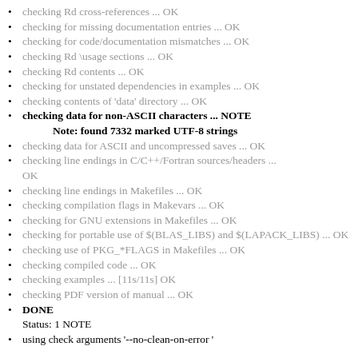checking Rd cross-references ... OK
checking for missing documentation entries ... OK
checking for code/documentation mismatches ... OK
checking Rd \usage sections ... OK
checking Rd contents ... OK
checking for unstated dependencies in examples ... OK
checking contents of 'data' directory ... OK
checking data for non-ASCII characters ... NOTE
    Note: found 7332 marked UTF-8 strings
checking data for ASCII and uncompressed saves ... OK
checking line endings in C/C++/Fortran sources/headers ... OK
checking line endings in Makefiles ... OK
checking compilation flags in Makevars ... OK
checking for GNU extensions in Makefiles ... OK
checking for portable use of $(BLAS_LIBS) and $(LAPACK_LIBS) ... OK
checking use of PKG_*FLAGS in Makefiles ... OK
checking compiled code ... OK
checking examples ... [11s/11s] OK
checking PDF version of manual ... OK
DONE
    Status: 1 NOTE
using check arguments '--no-clean-on-error '